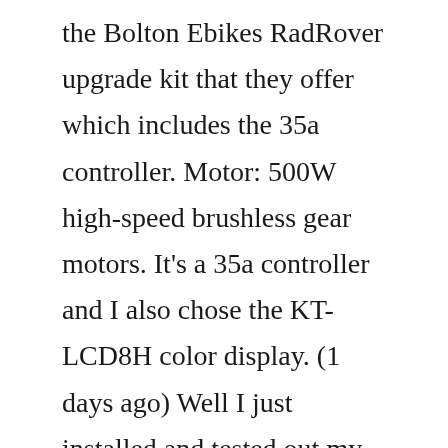the Bolton Ebikes RadRover upgrade kit that they offer which includes the 35a controller. Motor: 500W high-speed brushless gear motors. It's a 35a controller and I also chose the KT-LCD8H color display. (1 days ago) Well I just installed and tested out my Radrover Upgrade kit from Boltonebikes. Bolton radrover controller settings. Podcast – Listen in every week... This is the RadRover 5 from RadPowerBikes. Purchased on 102020. I